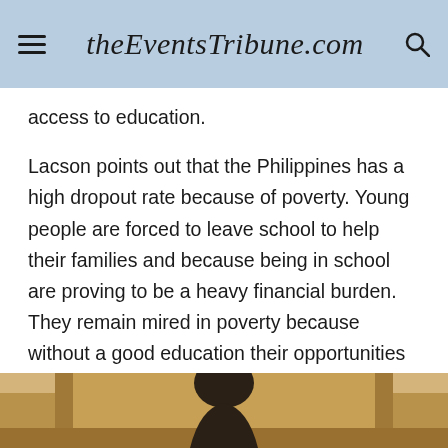theEventsTribune.com
access to education.
Lacson points out that the Philippines has a high dropout rate because of poverty. Young people are forced to leave school to help their families and because being in school are proving to be a heavy financial burden. They remain mired in poverty because without a good education their opportunities are limited and mostly can only get low-paying jobs.
[Figure (photo): Bottom portion of a photograph showing a person, cropped at the bottom of the page]